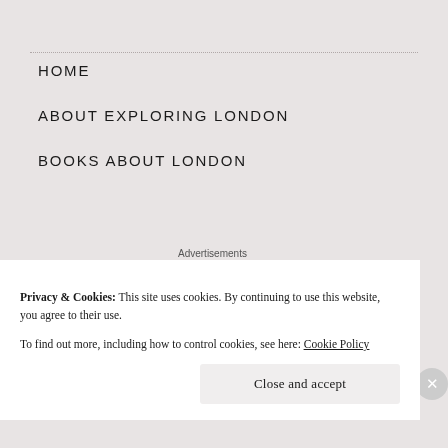HOME
ABOUT EXPLORING LONDON
BOOKS ABOUT LONDON
Advertisements
[Figure (logo): WooCommerce logo on purple background banner]
Privacy & Cookies: This site uses cookies. By continuing to use this website, you agree to their use.
To find out more, including how to control cookies, see here: Cookie Policy
Close and accept